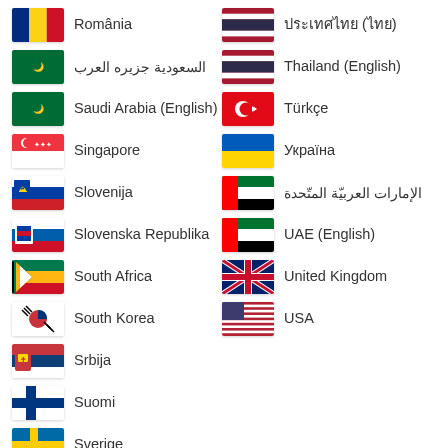România
السعودية جزيره العرب
Saudi Arabia (English)
Singapore
Slovenija
Slovenska Republika
South Africa
South Korea
Srbija
Suomi
Sverige
Schweiz (Deutsch)
ประเทศไทย (ไทย)
Thailand (English)
Türkçe
Україна
الإمارات العربيّة المتّحدة
UAE (English)
United Kingdom
USA